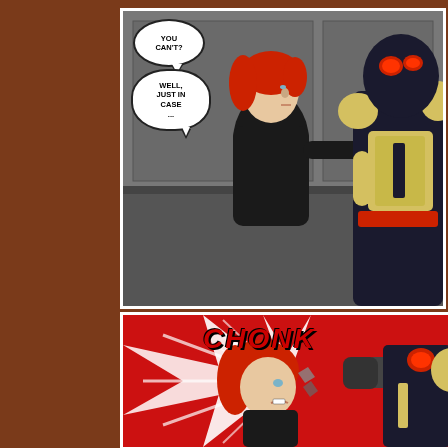[Figure (illustration): Comic book page with two panels. Top panel: A red-haired woman in a black suit faces a costumed villain in dark blue armor with red eye lenses, yellow accents and a red belt. Speech bubbles read 'YOU CAN'T?' and 'WELL, JUST IN CASE ...'. Bottom panel: Action scene on red background with white starburst. The woman headbutts the armored villain. Sound effect text reads 'CHONK' in large red letters.]